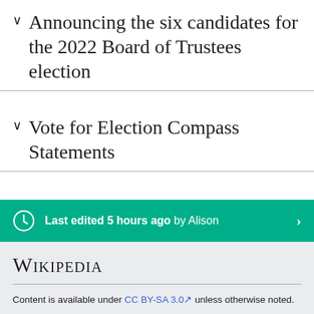Announcing the six candidates for the 2022 Board of Trustees election
Vote for Election Compass Statements
Last edited 5 hours ago by Alison
Wikipedia
Content is available under CC BY-SA 3.0 unless otherwise noted.
Téarmaí Úsáide • Polasaí príobháideachais • Leagan deisce